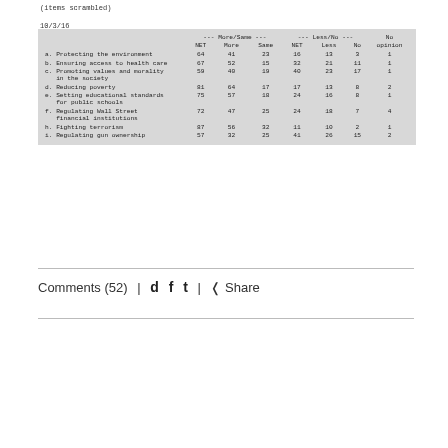(items scrambled)
10/3/16
|  | --- More/Same --- |  |  | --- Less/No --- |  |  | No |
| --- | --- | --- | --- | --- | --- | --- | --- |
|  | NET | More | Same | NET | Less | No | opinion |
| a. Protecting the environment | 64 | 41 | 23 | 16 | 13 | 3 | 1 |
| b. Ensuring access to health care | 67 | 52 | 15 | 32 | 21 | 11 | 1 |
| c. Promoting values and morality in the society | 59 | 40 | 19 | 40 | 23 | 17 | 1 |
| d. Reducing poverty | 81 | 64 | 17 | 17 | 13 | 8 | 2 |
| e. Setting educational standards for public schools | 75 | 57 | 18 | 24 | 16 | 8 | 1 |
| f. Regulating Wall Street financial institutions | 72 | 47 | 25 | 24 | 18 | 7 | 4 |
| h. Fighting terrorism | 87 | 56 | 32 | 11 | 10 | 2 | 1 |
| i. Regulating gun ownership | 57 | 32 | 25 | 41 | 26 | 15 | 2 |
Comments (52)  |  d f t  |  Share